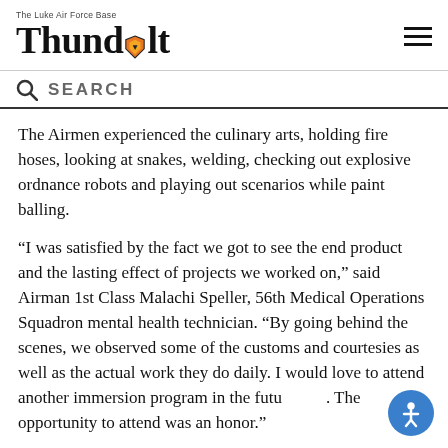The Luke Air Force Base Thunderbolt
SEARCH
The Airmen experienced the culinary arts, holding fire hoses, looking at snakes, welding, checking out explosive ordnance robots and playing out scenarios while paint balling.
“I was satisfied by the fact we got to see the end product and the lasting effect of projects we worked on,” said Airman 1st Class Malachi Speller, 56th Medical Operations Squadron mental health technician. “By going behind the scenes, we observed some of the customs and courtesies as well as the actual work they do daily. I would love to attend another immersion program in the future. The opportunity to attend was an honor.”